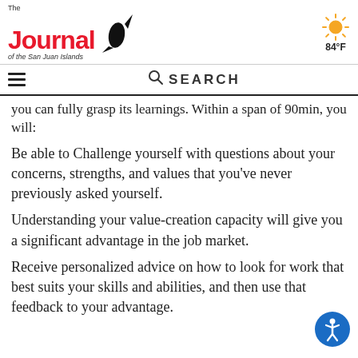The Journal of the San Juan Islands — 84°F
you can fully grasp its learnings. Within a span of 90min, you will:
Be able to Challenge yourself with questions about your concerns, strengths, and values that you've never previously asked yourself.
Understanding your value-creation capacity will give you a significant advantage in the job market.
Receive personalized advice on how to look for work that best suits your skills and abilities, and then use that feedback to your advantage.